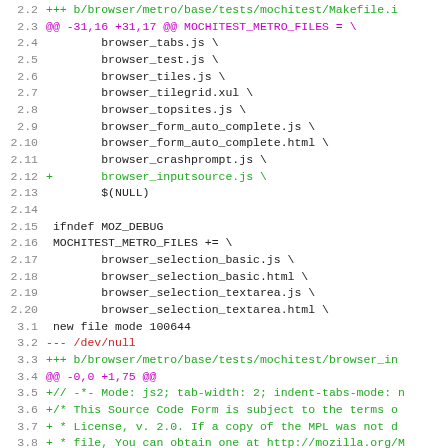[Figure (screenshot): Code diff viewer showing lines 2.2 through 3.13 of a git diff for browser mochitest Makefile and browser_inputsource.js file additions.]